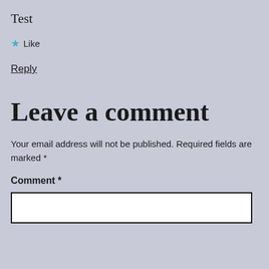Test
★ Like
Reply
Leave a comment
Your email address will not be published. Required fields are marked *
Comment *